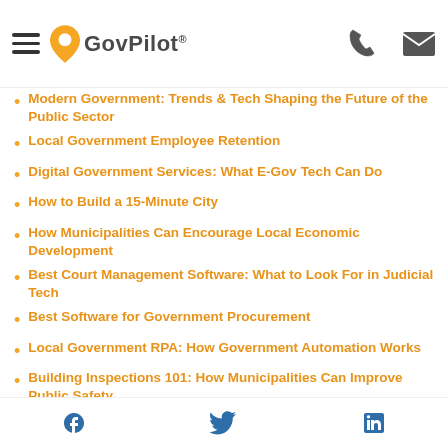GovPilot® [navigation header with logo, phone, and email icons]
Modern Government: Trends & Tech Shaping the Future of the Public Sector
Local Government Employee Retention
Digital Government Services: What E-Gov Tech Can Do
How to Build a 15-Minute City
How Municipalities Can Encourage Local Economic Development
Best Court Management Software: What to Look For in Judicial Tech
Best Software for Government Procurement
Local Government RPA: How Government Automation Works
Building Inspections 101: How Municipalities Can Improve Public Safety
Social media icons: Facebook, Twitter, LinkedIn